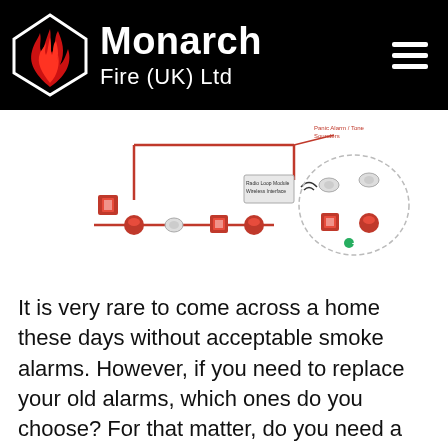Monarch Fire (UK) Ltd
[Figure (schematic): Fire alarm system diagram showing a loop of connected devices including call points, sounder beacons, smoke detectors, and a wireless interface module, with red wiring lines connecting them.]
It is very rare to come across a home these days without acceptable smoke alarms. However, if you need to replace your old alarms, which ones do you choose? For that matter, do you need a fire extinguisher at home? Which type of extinguisher should you